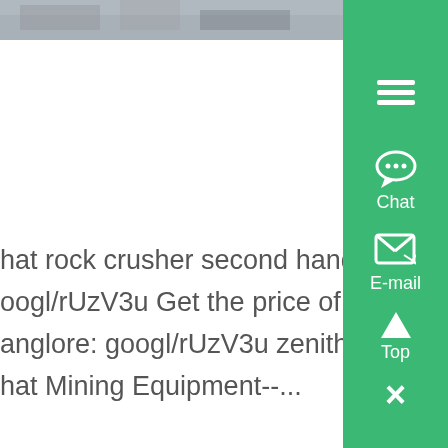[Figure (photo): Partial industrial/mining site image at top left, cropped]
Hand Operated Rock Crushe... include the hand stamp type... crusher of free gold that , Li... hat rock crusher second hand in banglore More deta... oogl/rUzV3u Get the price of rock crusher second ha... anglore: googl/rUzV3u zenith as one of the largest , ... hat Mining Equipment--...
[Figure (photo): Industrial building interior with large metal equipment, possibly a stamp mill]
Detail Parts - Minin... Wild West Scale Mo... Builders
To start, the mined rock ente... mill and passes over a grizz... a grate-kit# M1) that has ba... paced to allow rocks that the stamp battery can han...